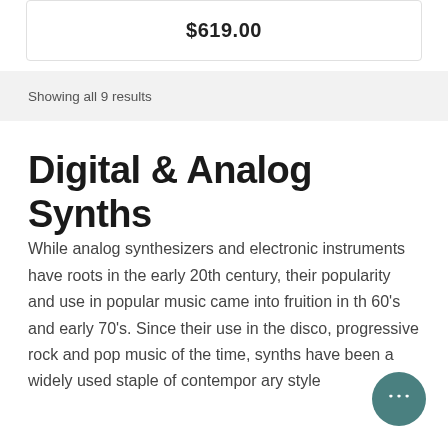$619.00
Showing all 9 results
Digital & Analog Synths
While analog synthesizers and electronic instruments have roots in the early 20th century, their popularity and use in popular music came into fruition in the 60's and early 70's. Since their use in the disco, progressive rock and pop music of the time, synths have been a widely used staple of contemporary style